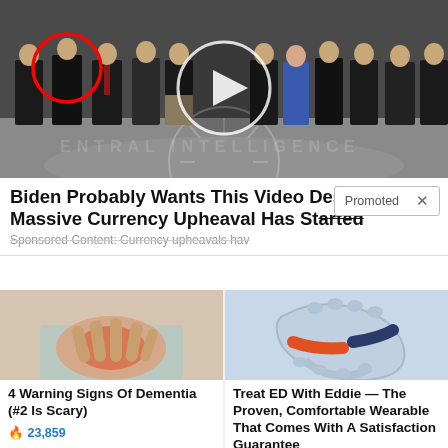[Figure (photo): Group of men in suits standing in the CIA headquarters lobby with the CIA floor seal visible. A red circle is drawn around one person on the left. A white circle with a play button is overlaid in the center, indicating a video.]
Biden Probably Wants This Video Destroyed — Massive Currency Upheaval Has Started
Sponsored Content: Currency upheavals hav...
Promoted  X
[Figure (photo): Person with hand on chest showing redness, illustrating heart/health warning signs.]
4 Warning Signs Of Dementia (#2 Is Scary)
🔥 23,859
[Figure (photo): Light blue wearable device with orange and dark blue straps, used as a medical/wellness product for ED treatment.]
Treat ED With Eddie — The Proven, Comfortable Wearable That Comes With A Satisfaction Guarantee
🔥 85,208